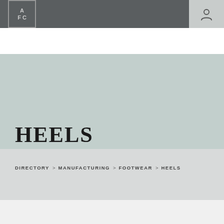AFC logo | hamburger menu | account icon
DIRECTORY
HEELS
DIRECTORY > MANUFACTURING > FOOTWEAR > HEELS